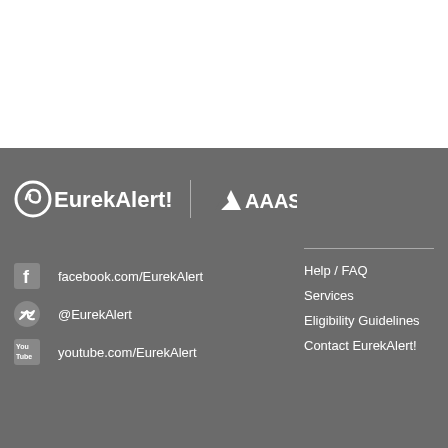[Figure (logo): EurekAlert! and AAAS logos side by side on gray footer background]
facebook.com/EurekAlert
@EurekAlert
youtube.com/EurekAlert
Help / FAQ
Services
Eligibility Guidelines
Contact EurekAlert!